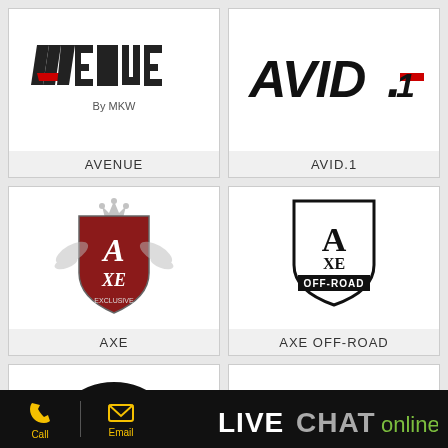[Figure (logo): AVENUE By MKW logo — stylized bold italic text with red chevron accent]
AVENUE
[Figure (logo): AVID.1 logo — bold black italic text with red rectangle accent under .1]
AVID.1
[Figure (logo): AXE logo — ornate red shield with crown and decorative flourishes, letters A and XE]
AXE
[Figure (logo): AXE OFF-ROAD logo — shield outline with A over XE over OFF-ROAD banner]
AXE OFF-ROAD
[Figure (logo): AZARA logo — camera aperture circle with AZARA text inside]
[Figure (logo): BBY logo — stylized bold italic chrome letters BBY]
Call   Email   LIVE CHAT online!